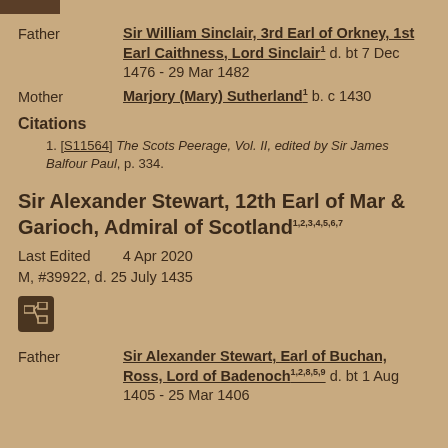Father: Sir William Sinclair, 3rd Earl of Orkney, 1st Earl Caithness, Lord Sinclair¹ d. bt 7 Dec 1476 - 29 Mar 1482
Mother: Marjory (Mary) Sutherland¹ b. c 1430
Citations
1. [S11564] The Scots Peerage, Vol. II, edited by Sir James Balfour Paul, p. 334.
Sir Alexander Stewart, 12th Earl of Mar & Garioch, Admiral of Scotland¹,²,³,⁴,⁵,⁶,⁷
Last Edited    4 Apr 2020
M, #39922, d. 25 July 1435
Father: Sir Alexander Stewart, Earl of Buchan, Ross, Lord of Badenoch¹,²,⁸,⁵,⁹ d. bt 1 Aug 1405 - 25 Mar 1406